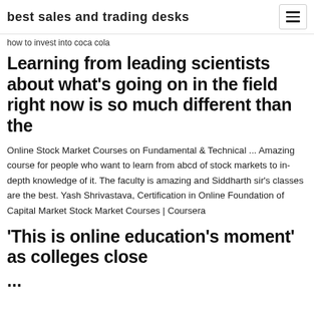best sales and trading desks
how to invest into coca cola
Learning from leading scientists about what's going on in the field right now is so much different than the
Online Stock Market Courses on Fundamental & Technical ... Amazing course for people who want to learn from abcd of stock markets to in-depth knowledge of it. The faculty is amazing and Siddharth sir's classes are the best. Yash Shrivastava, Certification in Online Foundation of Capital Market Stock Market Courses | Coursera
‘This is online education’s moment’ as colleges close ...